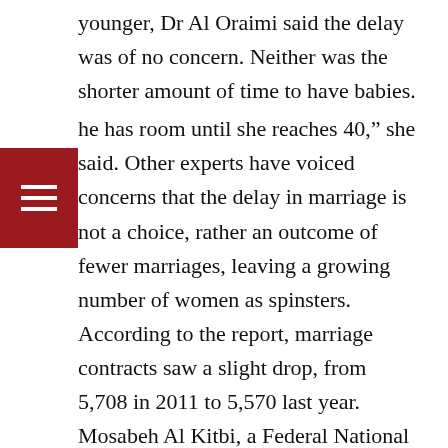younger, Dr Al Oraimi said the delay was of no concern. Neither was the shorter amount of time to have babies. he has room until she reaches 40,” she said. Other experts have voiced concerns that the delay in marriage is not a choice, rather an outcome of fewer marriages, leaving a growing number of women as spinsters. According to the report, marriage contracts saw a slight drop, from 5,708 in 2011 to 5,570 last year. Mosabeh Al Kitbi, a Federal National Council member from Sharjah, this year quizzed Dr Maitha Al Shamsi, Minister of State and chair of the Marriage Fund, on the issue of anousa, or spinsterhood.